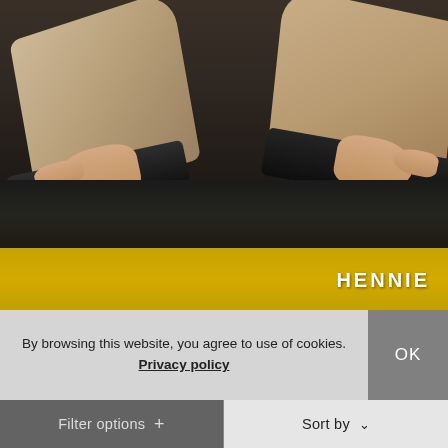[Figure (photo): Close-up photo of two platform shoes/sandals with beige suede uppers and thick black soles, held by hands over a dark industrial surface with a yellow painted stripe at the bottom. The brand name HENNIE appears in white text at the lower right.]
By browsing this website, you agree to use of cookies. Privacy policy
OK
Filter options +
Sort by ∨